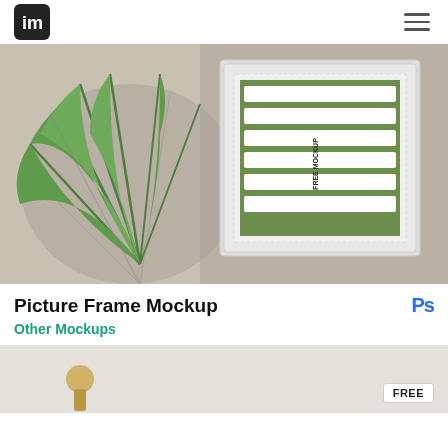im (logo) | hamburger menu
[Figure (photo): Flat lay photo of a white picture frame on a wooden surface with a tropical palm leaf. The frame contains a poster with the word FUTURE in large white letters on a green background, with FREE MOCKUP text vertically on the side.]
Picture Frame Mockup
Ps
Other Mockups
[Figure (photo): Partial view of another mockup image showing a light background with a brass fixture, with a FREE badge overlay in the bottom right.]